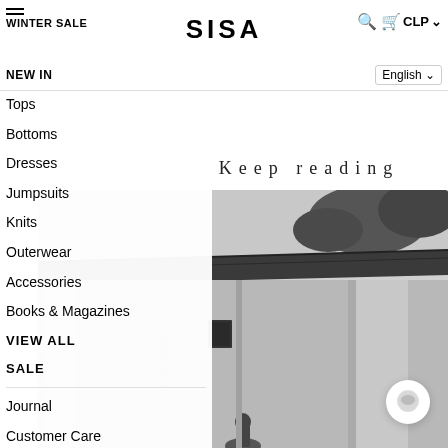SISA — WINTER SALE | CLP | English
NEW IN
Tops
Bottoms
Dresses
Jumpsuits
Knits
Outerwear
Accessories
Books & Magazines
VIEW ALL
SALE
Journal
Customer Care
About
Keep reading
[Figure (photo): Black and white photograph of a rustic building exterior with a corrugated roof, stone/adobe walls, a small window, and trees visible above the roofline. A person partially visible at bottom.]